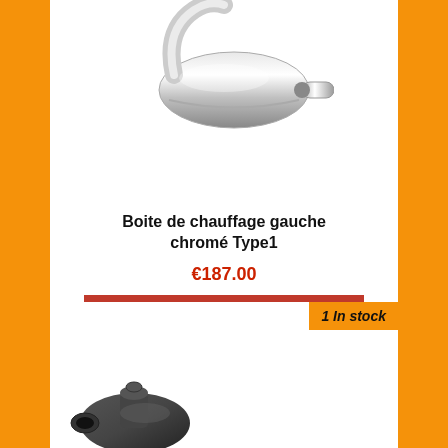[Figure (photo): Chrome exhaust muffler / heater box part, shiny metallic surface, curved pipe shape, partially cut off at top]
Boite de chauffage gauche chromé Type1
€187.00
ADD TO BASKET
1 In stock
[Figure (photo): Dark grey/black exhaust or heater box component, cast metal part with multiple openings, partially visible at bottom of page]